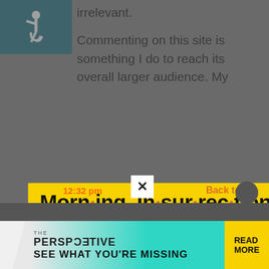[Figure (screenshot): Accessibility icon, wheelchair user symbol, teal background, top-left corner]
irrelevant.

Commenting on this site is something I do to reach its overall larger audience. My
[Figure (infographic): Modal popup with yellow background. Title: 'Morn·ing In·sur·rec·tion'. Body text: 'Get the latest news from Legal Insurrection, plus exclusive content, direct to your inbox every morning. Subscribe today – it's free!' with an orange JOIN NOW button with envelope icon. Close X button top-right.]
[Figure (screenshot): Bottom bar with timestamp '12:32 pm', close X button, Back to top link, and The Perspective advertisement banner reading 'SEE WHAT YOU'RE MISSING' with READ MORE button]